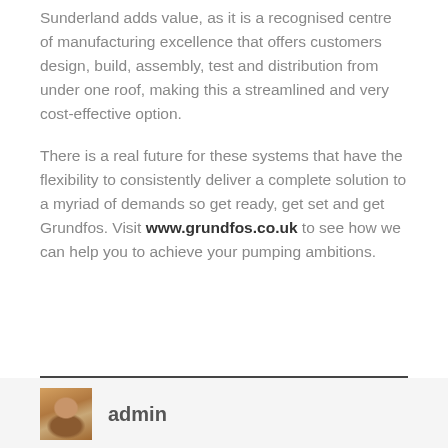Sunderland adds value, as it is a recognised centre of manufacturing excellence that offers customers design, build, assembly, test and distribution from under one roof, making this a streamlined and very cost-effective option.
There is a real future for these systems that have the flexibility to consistently deliver a complete solution to a myriad of demands so get ready, get set and get Grundfos. Visit www.grundfos.co.uk to see how we can help you to achieve your pumping ambitions.
admin